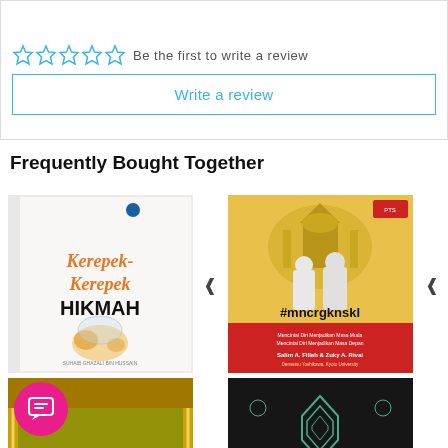Customer Reviews
☆☆☆☆☆  Be the first to write a review
Write a review
Frequently Bought Together
[Figure (photo): Book cover: Kerepek-Kerepek Hikmah]
[Figure (photo): Book cover: #mncrgknskl by Salim A. Fillah & Zuky A. Rivai]
[Figure (photo): Book cover: IQRA' (Cara Cepat Belajar...)]
[Figure (photo): Book cover: dark Islamic pattern book]